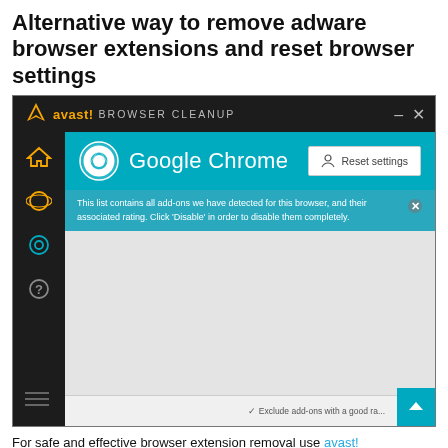Alternative way to remove adware browser extensions and reset browser settings
[Figure (screenshot): Avast Browser Cleanup application screenshot showing Google Chrome browser with a 'Reset settings' button and a teal info bar reading: 'This list contains all add-ons we have detected for this browser, and their associated rating. Click Disable in order to disable them completely.' The interface has a dark sidebar with browser icons, and a bottom bar with 'Exclude add-ons with a good rating' checkbox.]
For safe and effective browser extension removal use avast!